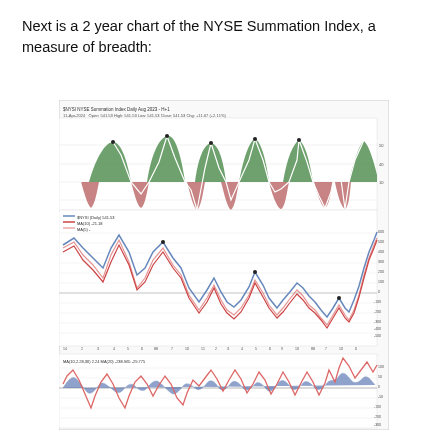Next is a 2 year chart of the NYSE Summation Index, a measure of breadth:
[Figure (continuous-plot): 2-year chart of the NYSE Summation Index showing three panels: top panel with green filled peaks and red/brown filled troughs in an oscillator style, middle panel with blue and two red/pink lines showing the summation index trending down then recovering with values ranging roughly from -1500 to 600, and bottom panel with oscillating blue and red lines near zero. Y-axis labels on right side of middle panel show values from approximately 600 down to -1500. X-axis shows time ticks. Chart header shows ticker info and OHLC data.]